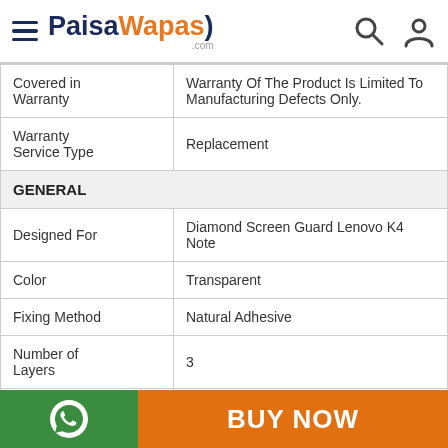PaisaWapas.com
| Covered in Warranty | Warranty Of The Product Is Limited To Manufacturing Defects Only. |
| Warranty Service Type | Replacement |
| GENERAL |  |
| Designed For | Diamond Screen Guard Lenovo K4 Note |
| Color | Transparent |
| Fixing Method | Natural Adhesive |
| Number of Layers | 3 |
| Is Residue Free | Yes |
BUY NOW